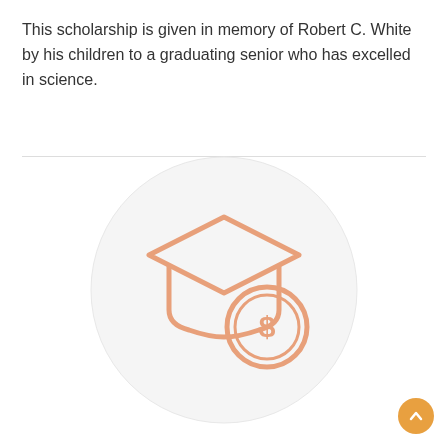This scholarship is given in memory of Robert C. White by his children to a graduating senior who has excelled in science.
[Figure (illustration): A circular light gray icon background containing an illustration of a graduation cap and a coin with a dollar sign, rendered in peach/salmon outline style.]